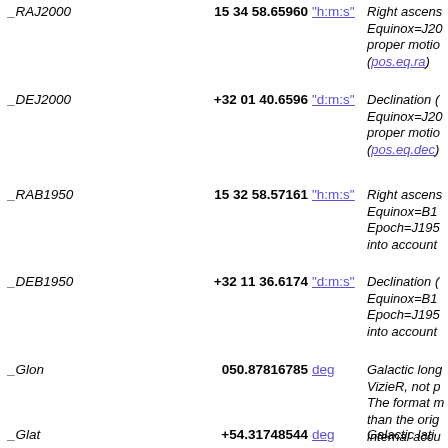_RAJ2000   15 34 58.65960 "h:m:s"  Right ascension Equinox=J2000 proper motion (pos.eq.ra)
_DEJ2000   +32 01 40.6596 "d:m:s"  Declination (Equinox=J2000 proper motion (pos.eq.dec)
_RAB1950   15 32 58.57161 "h:m:s"  Right ascension Equinox=B1 Epoch=J195 into account
_DEB1950   +32 11 36.6174 "d:m:s"  Declination Equinox=B1 Epoch=J195 into account
_Glon   050.87816785 deg  Galactic long VizieR, not p The format m than the orig internal accu VizieR and a services) (po
_Glat   +54.31748544 deg  Galactic lati